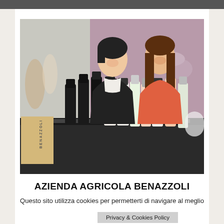[Figure (photo): Two women standing behind a display table with multiple wine bottles at what appears to be a wine exhibition or trade show. The booth has a purple/mauve background with a decorative grape/leaf motif. Various Benazzoli wine bottles are arranged on the table in front of them. One woman has short dark hair and wears a black cardigan over a white patterned blouse; the other has long brown hair and wears a coral/pink blazer. A Benazzoli branded box is visible on the left side.]
AZIENDA AGRICOLA BENAZZOLI
Questo sito utilizza cookies per permetterti di navigare al meglio
Privacy & Cookies Policy